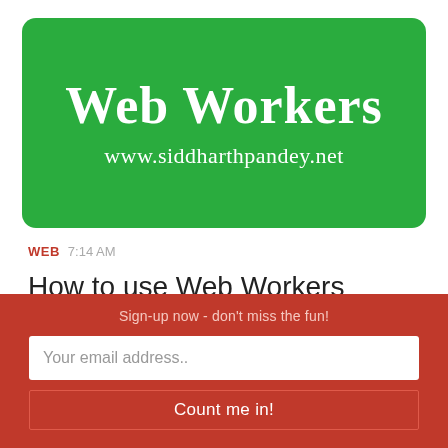[Figure (logo): Green rounded rectangle banner with 'Web Workers' in large white serif bold text and 'www.siddharthpandey.net' below in white serif text]
WEB  7:14 AM
How to use Web Workers to speed-up web applications?
Sign-up now - don't miss the fun!
Your email address..
Count me in!